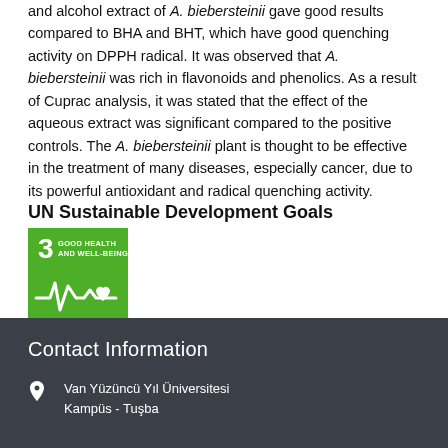and alcohol extract of A. biebersteinii gave good results compared to BHA and BHT, which have good quenching activity on DPPH radical. It was observed that A. biebersteinii was rich in flavonoids and phenolics. As a result of Cuprac analysis, it was stated that the effect of the aqueous extract was significant compared to the positive controls. The A. biebersteinii plant is thought to be effective in the treatment of many diseases, especially cancer, due to its powerful antioxidant and radical quenching activity.
UN Sustainable Development Goals
[Figure (illustration): UN SDG Goal 3 badge: green square with the number 3, text 'GOOD HEALTH AND WELL-BEING', and a white heartbeat/health icon with a heart symbol]
Contact Information
Van Yüzüncü Yıl Üniversitesi Kampüs - Tuşba